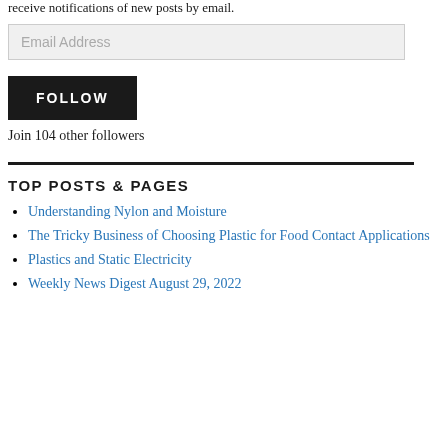receive notifications of new posts by email.
Email Address
FOLLOW
Join 104 other followers
TOP POSTS & PAGES
Understanding Nylon and Moisture
The Tricky Business of Choosing Plastic for Food Contact Applications
Plastics and Static Electricity
Weekly News Digest August 29, 2022